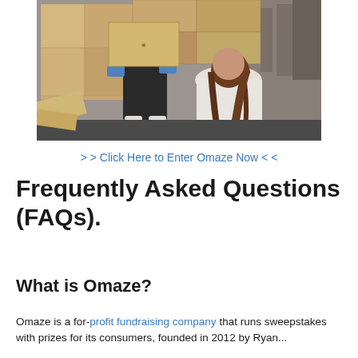[Figure (photo): Two people handling cardboard boxes in an outdoor area; one person with long brown hair in a white sweatshirt seen from behind, another person in dark clothing and blue gloves lifting a box onto a stack of boxes.]
> > Click Here to Enter Omaze Now < <
Frequently Asked Questions (FAQs).
What is Omaze?
Omaze is a for-profit fundraising company that runs sweepstakes with prizes for its consumers, founded in 2012 by Ryan...